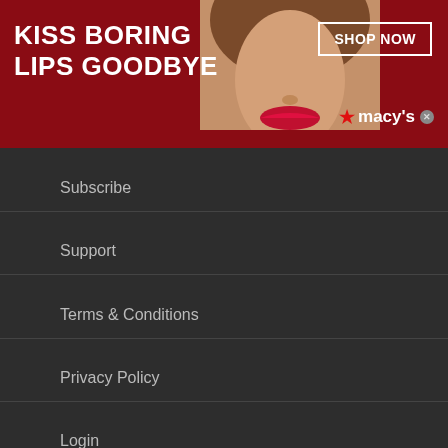[Figure (photo): Macy's advertisement banner with red background, woman's face with red lips, text 'KISS BORING LIPS GOODBYE', 'SHOP NOW' button, and Macy's logo]
Subscribe
Support
Terms & Conditions
Privacy Policy
Login
[Figure (screenshot): Site Search input box with magnifying glass icon]
[Figure (photo): Advertisement: #1 Natural Prostate Treatment - Top Urologist: Enlarged Prostate? Do This Immediately! healthreport4u.com with anatomical illustration and blue arrow button]